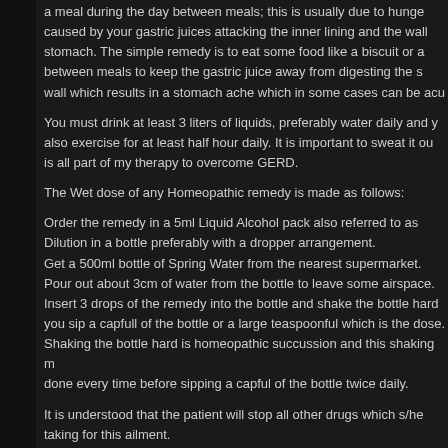a meal during the day between meals; this is usually due to hunger caused by your gastric juices attacking the inner lining and the wall of your stomach. The simple remedy is to eat some food like a biscuit or a snack between meals to keep the gastric juice away from digesting the stomach wall which results in a stomach ache which in some cases can be acute.
You must drink at least 3 liters of liquids, preferably water daily and you also exercise for at least half hour daily. It is important to sweat it out. This is all part of my therapy to overcome GERD.
The Wet dose of any Homeopathic remedy is made as follows:
Order the remedy in a 5ml Liquid Alcohol pack also referred to as Ethanol Dilution in a bottle preferably with a dropper arrangement.
Get a 500ml bottle of Spring Water from the nearest supermarket.
Pour out about 3cm of water from the bottle to leave some airspace.
Insert 3 drops of the remedy into the bottle and shake the bottle hard before you sip a capfull of the bottle or a large teaspoonful which is the dose.
Shaking the bottle hard is homeopathic succussion and this shaking must be done every time before sipping a capful of the bottle twice daily.
It is understood that the patient will stop all other drugs which s/he is taking for this ailment.
Do not use Coffee, Cola beverages, preserved foods like sausages, ham and bacon as they contain Saltpeter.
Reply
RRSAWANT says:
May 15, 2018 at 10:51 AM